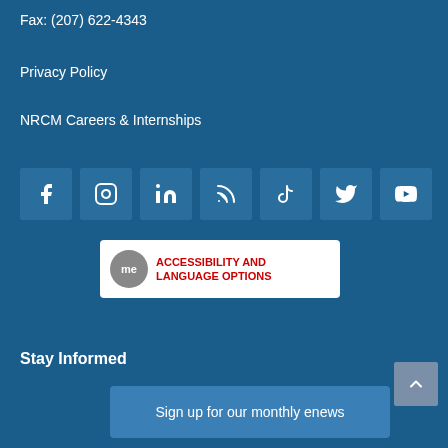Fax: (207) 622-4343
Privacy Policy
NRCM Careers & Internships
[Figure (infographic): Row of 7 social media icon buttons: Facebook, Instagram, LinkedIn, RSS, TikTok, Twitter, YouTube]
[Figure (logo): Accessibility and Language Options badge with 'me' bubble logo]
Stay Informed
Sign up for our monthly enews